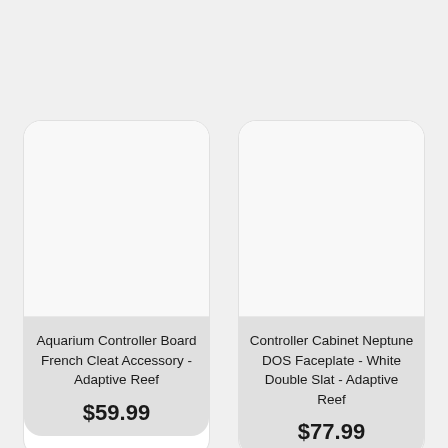[Figure (other): Product card image placeholder for Aquarium Controller Board French Cleat Accessory - white/light gray rectangular area]
Aquarium Controller Board French Cleat Accessory - Adaptive Reef
$59.99
[Figure (other): Product card image placeholder for Controller Cabinet Neptune DOS Faceplate - White Double Slat - white/light gray rectangular area]
Controller Cabinet Neptune DOS Faceplate - White Double Slat - Adaptive Reef
$77.99